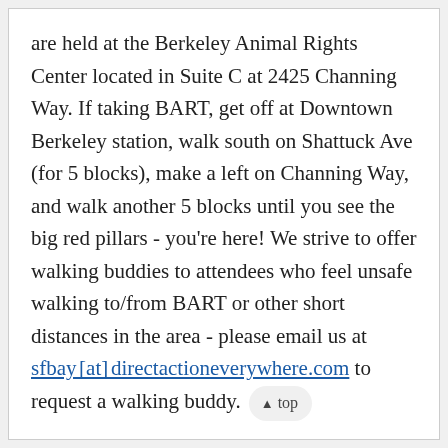are held at the Berkeley Animal Rights Center located in Suite C at 2425 Channing Way. If taking BART, get off at Downtown Berkeley station, walk south on Shattuck Ave (for 5 blocks), make a left on Channing Way, and walk another 5 blocks until you see the big red pillars - you're here! We strive to offer walking buddies to attendees who feel unsafe walking to/from BART or other short distances in the area - please email us at sfbay [at] directactioneverywhere.com to request a walking buddy.
PARKING: There is a parking garage at the